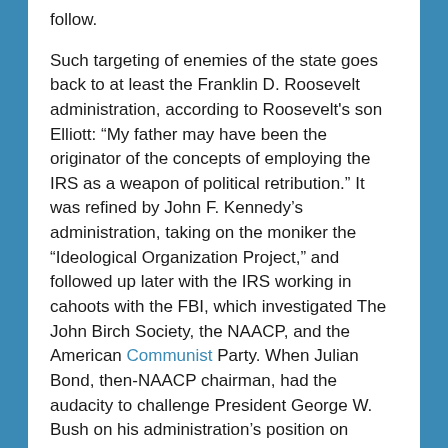follow.

Such targeting of enemies of the state goes back to at least the Franklin D. Roosevelt administration, according to Roosevelt's son Elliott: “My father may have been the originator of the concepts of employing the IRS as a weapon of political retribution.” It was refined by John F. Kennedy’s administration, taking on the moniker the “Ideological Organization Project,” and followed up later with the IRS working in cahoots with the FBI, which investigated The John Birch Society, the NAACP, and the American Communist Party. When Julian Bond, then-NAACP chairman, had the audacity to challenge President George W. Bush on his administration’s position on education, the economy, and the war in Iraq, the IRS targeted the group for special attention.